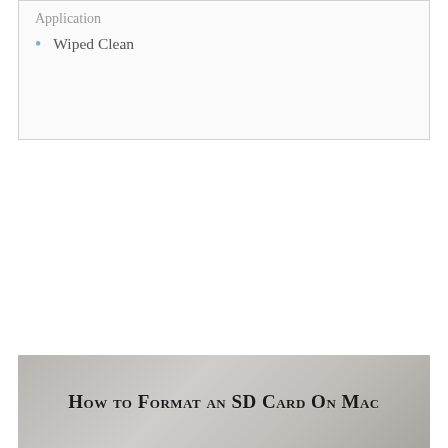Application
Wiped Clean
[Figure (photo): Photo background with title overlay reading 'How to Format an SD Card On Mac']